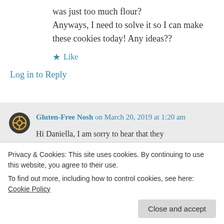was just too much flour?
Anyways, I need to solve it so I can make these cookies today! Any ideas??
★ Like
Log in to Reply
Gluten-Free Nosh on March 20, 2019 at 1:20 am
Hi Daniella, I am sorry to hear that they
the dough out of the fridge and let it sit out
Privacy & Cookies: This site uses cookies. By continuing to use this website, you agree to their use.
To find out more, including how to control cookies, see here: Cookie Policy
Close and accept